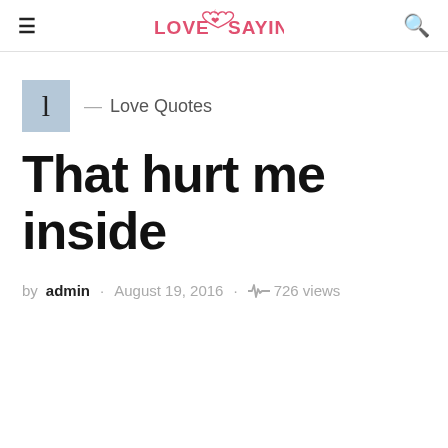Love Sayings — navigation header with hamburger menu, logo, and search icon
l — Love Quotes
That hurt me inside
by admin · August 19, 2016 · 726 views